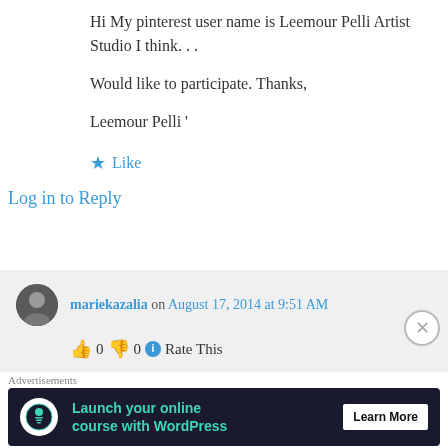Hi My pinterest user name is Leemour Pelli Artist Studio I think. . .
Would like to participate. Thanks,
Leemour Pelli '
★ Like
Log in to Reply
mariekazalia on August 17, 2014 at 9:51 AM
👍 0 👎 0 ℹ Rate This
Hi Leemour
Advertisements
[Figure (screenshot): Advertisement banner: Launch your online course with WordPress — Learn More button, dark background with teal text and WordPress logo icon]